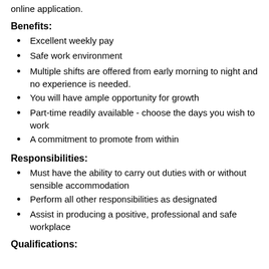online application.
Benefits:
Excellent weekly pay
Safe work environment
Multiple shifts are offered from early morning to night and no experience is needed.
You will have ample opportunity for growth
Part-time readily available - choose the days you wish to work
A commitment to promote from within
Responsibilities:
Must have the ability to carry out duties with or without sensible accommodation
Perform all other responsibilities as designated
Assist in producing a positive, professional and safe workplace
Qualifications: